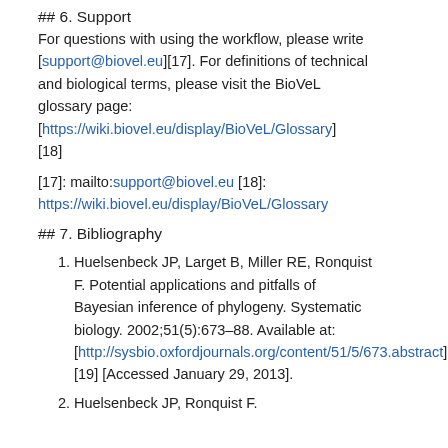## 6. Support
For questions with using the workflow, please write [support@biovel.eu][17]. For definitions of technical and biological terms, please visit the BioVeL glossary page: [https://wiki.biovel.eu/display/BioVeL/Glossary][18]
[17]: mailto:support@biovel.eu [18]: https://wiki.biovel.eu/display/BioVeL/Glossary
## 7. Bibliography
1. Huelsenbeck JP, Larget B, Miller RE, Ronquist F. Potential applications and pitfalls of Bayesian inference of phylogeny. Systematic biology. 2002;51(5):673–88. Available at: [http://sysbio.oxfordjournals.org/content/51/5/673.abstract][19] [Accessed January 29, 2013].
2. Huelsenbeck JP, Ronquist F.